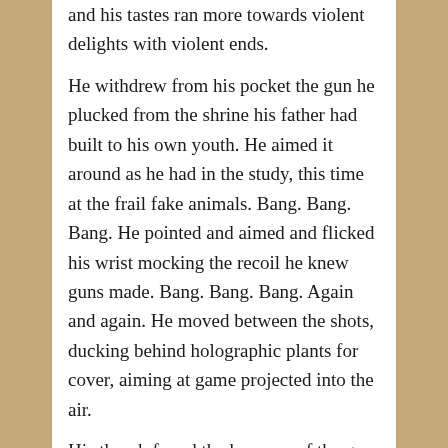and his tastes ran more towards violent delights with violent ends.
He withdrew from his pocket the gun he plucked from the shrine his father had built to his own youth. He aimed it around as he had in the study, this time at the frail fake animals. Bang. Bang. Bang. He pointed and aimed and flicked his wrist mocking the recoil he knew guns made. Bang. Bang. Bang. Again and again. He moved between the shots, ducking behind holographic plants for cover, aiming at game projected into the air.
His thumb found the hammer of the gun, at first just flirting with the mechanism, pulling it slowly back before pointing it again. Bang. He yelled at the eagle with the head of a lion. Bang at the winged serpent, Bang, at the